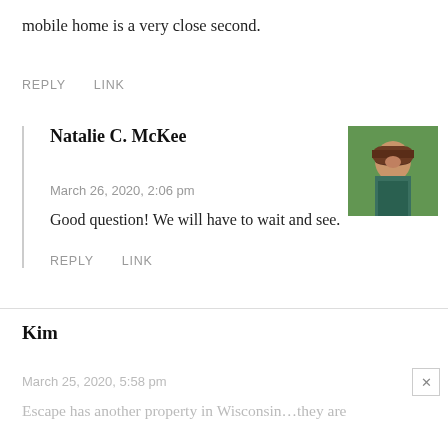mobile home is a very close second.
REPLY   LINK
Natalie C. McKee
March 26, 2020, 2:06 pm
Good question! We will have to wait and see.
REPLY   LINK
Kim
March 25, 2020, 5:58 pm
Escape has another property in Wisconsin…they are